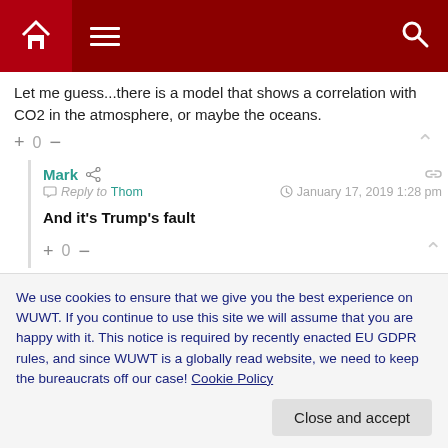WUWT navigation bar with home, menu, and search icons
Let me guess...there is a model that shows a correlation with CO2 in the atmosphere, or maybe the oceans.
+ 0 −
Mark  Reply to Thom  January 17, 2019 1:28 pm
And it's Trump's fault
+ 0 −
We use cookies to ensure that we give you the best experience on WUWT. If you continue to use this site we will assume that you are happy with it. This notice is required by recently enacted EU GDPR rules, and since WUWT is a globally read website, we need to keep the bureaucrats off our case! Cookie Policy
Close and accept